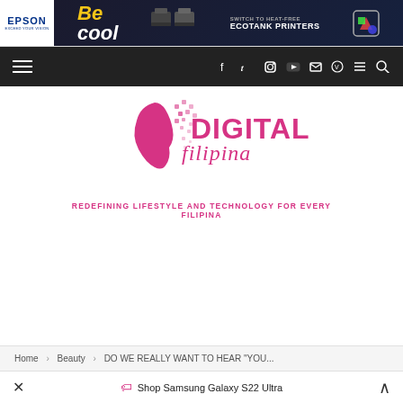[Figure (screenshot): Epson EcoTank advertisement banner: Epson logo on left, 'Be Cool' text, printer images, 'Switch to Heat-Free EcoTank Printers' text on dark background]
[Figure (screenshot): Dark navigation bar with hamburger menu on left and social media icons (Facebook, Twitter, Instagram, YouTube, email, Viber) and search icon on right]
[Figure (logo): Digital Filipina logo: pink stylized face profile with pixel/dot art pattern and 'DIGITAL filipina' text in pink]
REDEFINING LIFESTYLE AND TECHNOLOGY FOR EVERY FILIPINA
Home > Beauty > DO WE REALLY WANT TO HEAR "YOU...
Shop Samsung Galaxy S22 Ultra